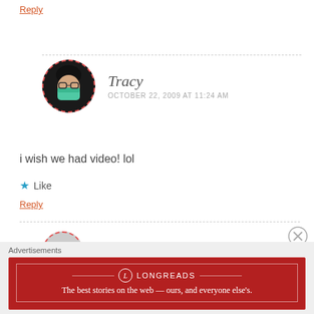Reply
Tracy
OCTOBER 22, 2009 AT 11:24 AM
i wish we had video! lol
Like
Reply
Advertisements
[Figure (logo): Longreads logo and banner ad: The best stories on the web — ours, and everyone else's.]